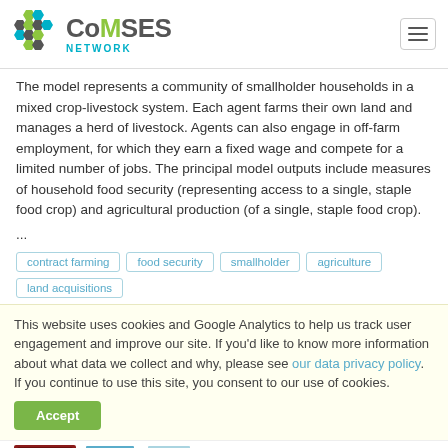CoMSES NETWORK
The model represents a community of smallholder households in a mixed crop-livestock system. Each agent farms their own land and manages a herd of livestock. Agents can also engage in off-farm employment, for which they earn a fixed wage and compete for a limited number of jobs. The principal model outputs include measures of household food security (representing access to a single, staple food crop) and agricultural production (of a single, staple food crop).
...
contract farming
food security
smallholder
agriculture
land acquisitions
This website uses cookies and Google Analytics to help us track user engagement and improve our site. If you'd like to know more information about what data we collect and why, please see our data privacy policy. If you continue to use this site, you consent to our use of cookies.